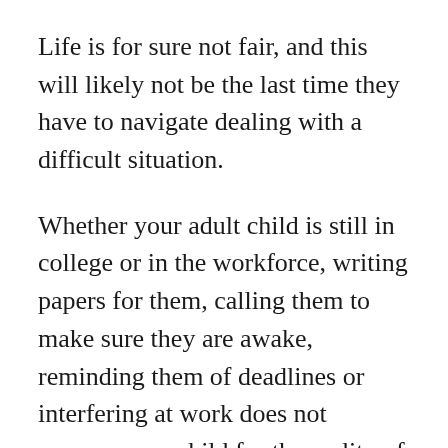Life is for sure not fair, and this will likely not be the last time they have to navigate dealing with a difficult situation.
Whether your adult child is still in college or in the workforce, writing papers for them, calling them to make sure they are awake, reminding them of deadlines or interfering at work does not prepare your child for the reality of living an independent, productive life. Doing these things will make them more dependent on you and less prepared for dealing with what life hands them on their own.